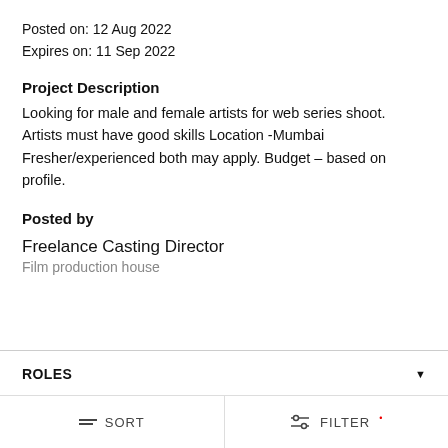Posted on: 12 Aug 2022
Expires on: 11 Sep 2022
Project Description
Looking for male and female artists for web series shoot. Artists must have good skills Location -Mumbai Fresher/experienced both may apply. Budget – based on profile.
Posted by
Freelance Casting Director
Film production house
ROLES
MakeUp Artist Required For Web Series
SORT
FILTER